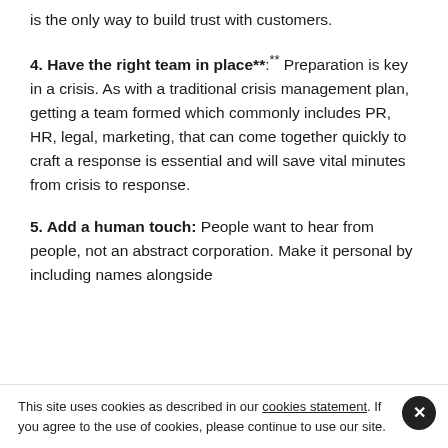is the only way to build trust with customers.
4. Have the right team in place**: ** Preparation is key in a crisis. As with a traditional crisis management plan, getting a team formed which commonly includes PR, HR, legal, marketing, that can come together quickly to craft a response is essential and will save vital minutes from crisis to response.
5. Add a human touch: People want to hear from people, not an abstract corporation. Make it personal by including names alongside
This site uses cookies as described in our cookies statement. If you agree to the use of cookies, please continue to use our site.